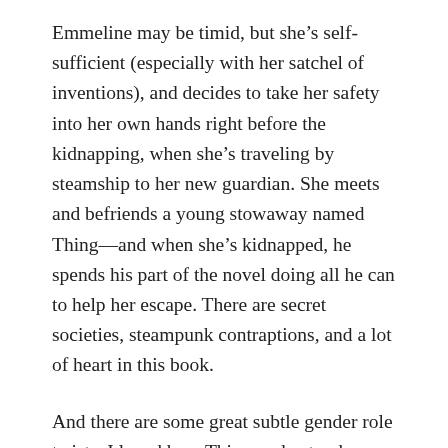Emmeline may be timid, but she’s self-sufficient (especially with her satchel of inventions), and decides to take her safety into her own hands right before the kidnapping, when she’s traveling by steamship to her new guardian. She meets and befriends a young stowaway named Thing—and when she’s kidnapped, he spends his part of the novel doing all he can to help her escape. There are secret societies, steampunk contraptions, and a lot of heart in this book.
And there are some great subtle gender role twists. I loved how Thing understood Emmeline’s situation and went after her, at great risk to himself, for no other reason than to further her goal. He’s the classic sidekick, and takes actions pretty much only for Emmeline